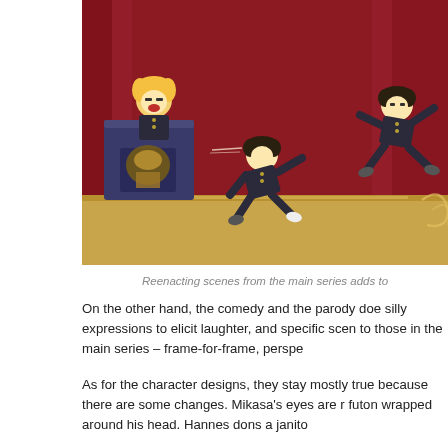[Figure (illustration): Anime chibi-style screenshot showing characters in black military uniforms on a stage with a dark red curtain. One small character with blonde hair stands at a podium with a crest, yelling into a microphone. Two other characters are mid-air in action poses.]
Reenacting scenes from the main series adds to
On the other hand, the comedy and the parody doe silly expressions to elicit laughter, and specific scen to those in the main series – frame-for-frame, perspe
As for the character designs, they stay mostly true because there are some changes. Mikasa's eyes are r futon wrapped around his head. Hannes dons a janito
The thick, black lines, the attire of the corps, and th